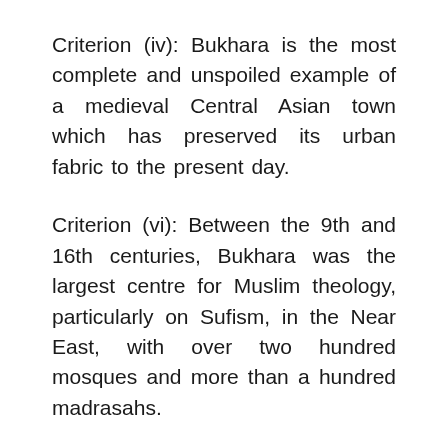Criterion (iv): Bukhara is the most complete and unspoiled example of a medieval Central Asian town which has preserved its urban fabric to the present day.
Criterion (vi): Between the 9th and 16th centuries, Bukhara was the largest centre for Muslim theology, particularly on Sufism, in the Near East, with over two hundred mosques and more than a hundred madrasahs.
Integrity
The property contains all the attributes that sustain its Outstanding Universal Value. Its